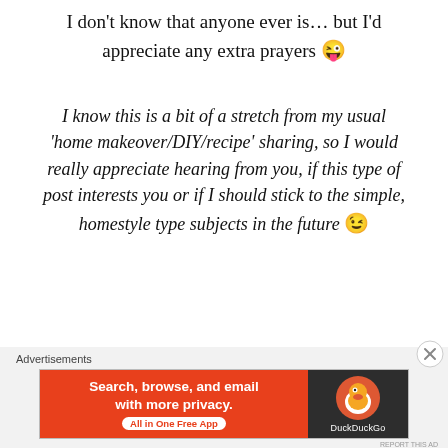I don't know that anyone ever is… but I'd appreciate any extra prayers 😜
I know this is a bit of a stretch from my usual 'home makeover/DIY/recipe' sharing, so I would really appreciate hearing from you, if this type of post interests you or if I should stick to the simple, homestyle type subjects in the future 😉
[Figure (infographic): DuckDuckGo advertisement banner: orange left side with text 'Search, browse, and email with more privacy. All in One Free App', dark right side with DuckDuckGo logo and name.]